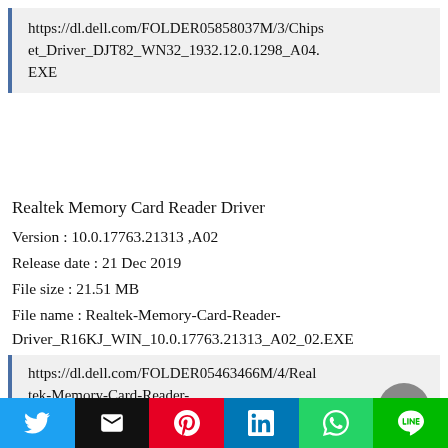https://dl.dell.com/FOLDER05858037M/3/Chipset_Driver_DJT82_WN32_1932.12.0.1298_A04.EXE
Realtek Memory Card Reader Driver
Version : 10.0.17763.21313 ,A02
Release date : 21 Dec 2019
File size : 21.51 MB
File name : Realtek-Memory-Card-Reader-Driver_R16KJ_WIN_10.0.17763.21313_A02_02.EXE
https://dl.dell.com/FOLDER05463466M/4/Realtek-Memory-Card-Reader-Driver_R16KJ_WIN_10.0.17763.21313_A02_02.